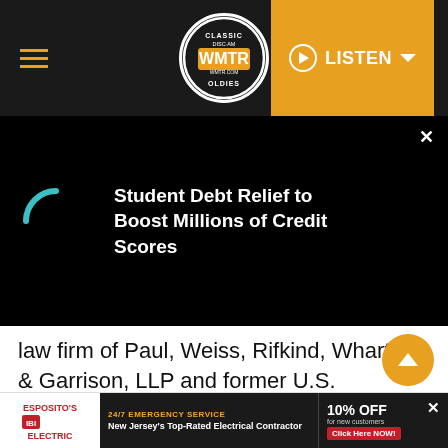[Figure (screenshot): WMTR Classic Oldies radio station website header with hamburger menu, circular logo, and orange LISTEN button]
[Figure (screenshot): News notification bar on dark background showing a teal loading spinner and headline 'Student Debt Relief to Boost Millions of Credit Scores' with close button]
law firm of Paul, Weiss, Rifkind, Wharton & Garrison, LLP and former U.S. Secretary of Homeland Security, Robert Wood Johnson Foundation President Richard Besser, and Chief of Staff George Helmy also will serve on the regional task force empaneled earlier this month that will include representatives from seven northeast states
[Figure (screenshot): Advertisement banner for Esposito's Electric - New Jersey's Top-Rated Electrical Contractor, 24/7 Emergency Service, 10% OFF for new customers, Click Here NOW!]